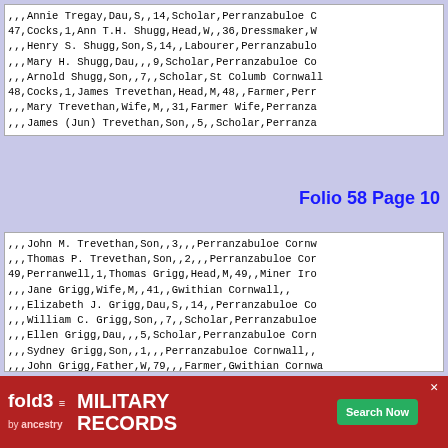|  |  |  | Annie Tregay | Dau | S |  | 14 | Scholar | Perranzabuloe C... |
| 47 | Cocks | 1 | Ann T.H. Shugg | Head | W |  | 36 | Dressmaker | W... |
|  |  |  | Henry S. Shugg | Son | S | 14 |  | Labourer | Perranzabulo... |
|  |  |  | Mary H. Shugg | Dau |  |  | 9 | Scholar | Perranzabuloe Co... |
|  |  |  | Arnold Shugg | Son |  | 7 |  | Scholar | St Columb Cornwall... |
| 48 | Cocks | 1 | James Trevethan | Head | M | 48 |  | Farmer | Perr... |
|  |  |  | Mary Trevethan | Wife | M |  | 31 | Farmer Wife | Perranza... |
|  |  |  | James (Jun) Trevethan | Son |  | 5 |  | Scholar | Perranza... |
Folio 58 Page 10
|  |  |  | John M. Trevethan | Son |  | 3 |  |  | Perranzabuloe Cornw... |
|  |  |  | Thomas P. Trevethan | Son |  | 2 |  |  | Perranzabuloe Cor... |
| 49 | Perranwell | 1 | Thomas Grigg | Head | M | 49 |  | Miner Iro... |  |
|  |  |  | Jane Grigg | Wife | M |  | 41 |  | Gwithian Cornwall |  |
|  |  |  | Elizabeth J. Grigg | Dau | S |  | 14 |  | Perranzabuloe Co... |
|  |  |  | William C. Grigg | Son |  |  | 7 | Scholar | Perranzabuloe... |
|  |  |  | Ellen Grigg | Dau |  |  | 5 | Scholar | Perranzabuloe Corn... |
|  |  |  | Sydney Grigg | Son |  | 1 |  |  | Perranzabuloe Cornwall |  |
|  |  |  | John Grigg | Father | W | 79 |  | Farmer | Gwithian Cornwa... |
| 50 | Perranwell | 1 | William Rodda | Head | M | 39 |  | Assuranc... |  |
|  |  |  | Mary J. Rodda | Wife | M |  | 37 |  | St Just Cornwall |  |
|  |  |  | Mary J. (Jun) Rodda | Dau | U |  | 15 | Dressmaker | St Ju... |
|  |  |  | El... |  |  |  |  |  | ...vah Cor... |
|  |  |  | El... |  |  |  |  |  | ...Just Co... |
|  |  |  | Wi... |  |  |  |  |  | ...Cornwall... |
[Figure (infographic): Fold3 Military Records advertisement banner by Ancestry]